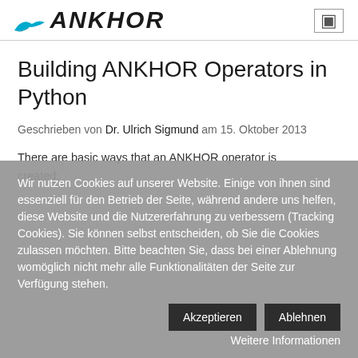ANKHOR
Building ANKHOR Operators in Python
Geschrieben von Dr. Ulrich Sigmund am 15. Oktober 2013
There are basic ways that an ANKHOR operator is created:
Wir nutzen Cookies auf unserer Website. Einige von ihnen sind essenziell für den Betrieb der Seite, während andere uns helfen, diese Website und die Nutzererfahrung zu verbessern (Tracking Cookies). Sie können selbst entscheiden, ob Sie die Cookies zulassen möchten. Bitte beachten Sie, dass bei einer Ablehnung womöglich nicht mehr alle Funktionalitäten der Seite zur Verfügung stehen.
Akzeptieren | Ablehnen | Weitere Informationen